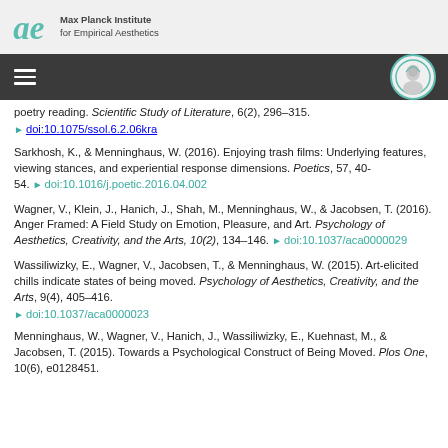Max Planck Institute for Empirical Aesthetics
poetry reading. Scientific Study of Literature, 6(2), 296–315. doi:10.1075/ssol.6.2.06kra
Sarkhosh, K., & Menninghaus, W. (2016). Enjoying trash films: Underlying features, viewing stances, and experiential response dimensions. Poetics, 57, 40-54. doi:10.1016/j.poetic.2016.04.002
Wagner, V., Klein, J., Hanich, J., Shah, M., Menninghaus, W., & Jacobsen, T. (2016). Anger Framed: A Field Study on Emotion, Pleasure, and Art. Psychology of Aesthetics, Creativity, and the Arts, 10(2), 134–146. doi:10.1037/aca0000029
Wassiliwizky, E., Wagner, V., Jacobsen, T., & Menninghaus, W. (2015). Art-elicited chills indicate states of being moved. Psychology of Aesthetics, Creativity, and the Arts, 9(4), 405–416. doi:10.1037/aca0000023
Menninghaus, W., Wagner, V., Hanich, J., Wassiliwizky, E., Kuehnast, M., & Jacobsen, T. (2015). Towards a Psychological Construct of Being Moved. Plos One, 10(6), e0128451.